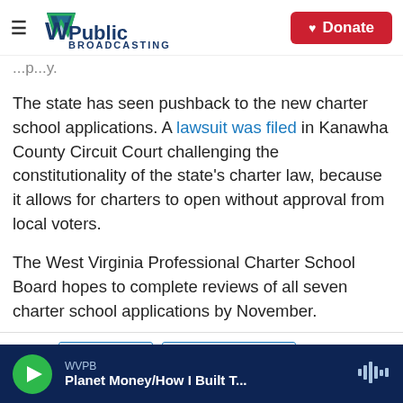WV Public Broadcasting | Donate
...p...y...
The state has seen pushback to the new charter school applications. A lawsuit was filed in Kanawha County Circuit Court challenging the constitutionality of the state's charter law, because it allows for charters to open without approval from local voters.
The West Virginia Professional Charter School Board hopes to complete reviews of all seven charter school applications by November.
Tags  Education  Education News
WVPB | Planet Money/How I Built T...